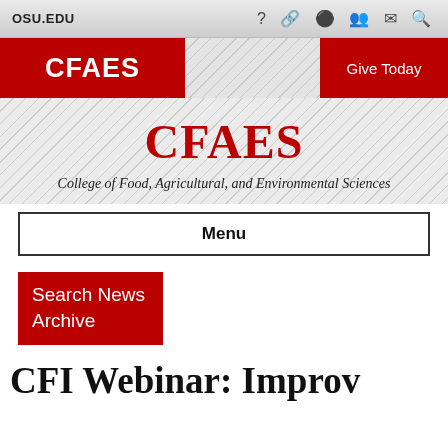OSU.EDU
[Figure (screenshot): CFAES red header logo box with 'CFAES' text and 'Give Today' red button on right, diagonal striped background in center]
CFAES
College of Food, Agricultural, and Environmental Sciences
Menu
Search News Archive
CFI Webinar: Improv